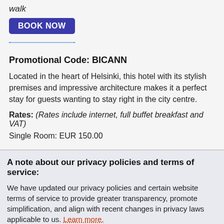walk
[Figure (other): BOOK NOW button (blue rounded rectangle)]
Promotional Code: BICANN
Located in the heart of Helsinki, this hotel with its stylish premises and impressive architecture makes it a perfect stay for guests wanting to stay right in the city centre.
Rates: (Rates include internet, full buffet breakfast and VAT)
Single Room: EUR 150.00
A note about our privacy policies and terms of service:
We have updated our privacy policies and certain website terms of service to provide greater transparency, promote simplification, and align with recent changes in privacy laws applicable to us. Learn more.
This site uses cookies to deliver an efficient user experience and to help us see how the site is used. Learn more. OK